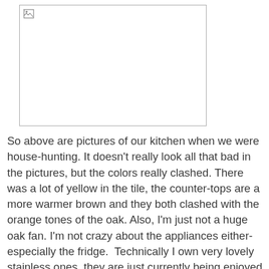[Figure (photo): A photo placeholder/broken image of kitchen during house-hunting, showing a bordered rectangle with a broken image icon in the top-left corner.]
So above are pictures of our kitchen when we were house-hunting. It doesn't really look all that bad in the pictures, but the colors really clashed. There was a lot of yellow in the tile, the counter-tops are a more warmer brown and they both clashed with the orange tones of the oak. Also, I'm just not a huge oak fan. I'm not crazy about the appliances either-especially the fridge.  Technically I own very lovely stainless ones, they are just currently being enjoyed by my renters.